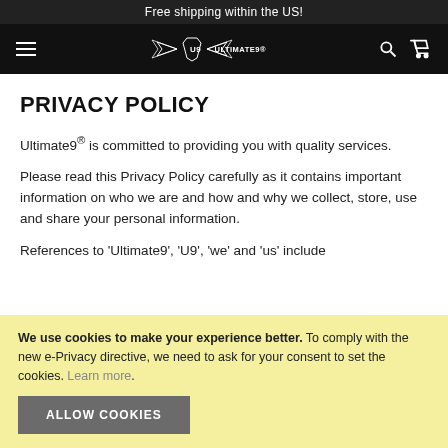Free shipping within the US!
[Figure (logo): Ultimate9 brand logo with wings and shield emblem in white on black navigation bar]
PRIVACY POLICY
Ultimate9® is committed to providing you with quality services.
Please read this Privacy Policy carefully as it contains important information on who we are and how and why we collect, store, use and share your personal information.
References to 'Ultimate9', 'U9', 'we' and 'us' include
We use cookies to make your experience better. To comply with the new e-Privacy directive, we need to ask for your consent to set the cookies. Learn more.
ALLOW COOKIES